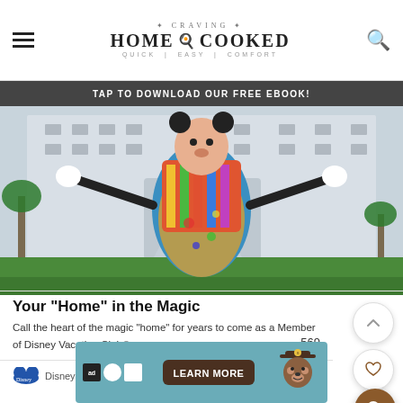CRAVING HOME COOKED QUICK | EASY | COMFORT
TAP TO DOWNLOAD OUR FREE EBOOK!
[Figure (photo): Photo of a Disney character (Goofy in colorful painter outfit) posing in front of a large resort hotel building, with palm trees in background]
Your "Home" in the Magic
Call the heart of the magic "home" for years to come as a Member of Disney Vacation Club®.
569
Disney Vacation Club    Magic Aw...
[Figure (infographic): Advertisement banner with Smokey Bear and LEARN MORE button on teal background]